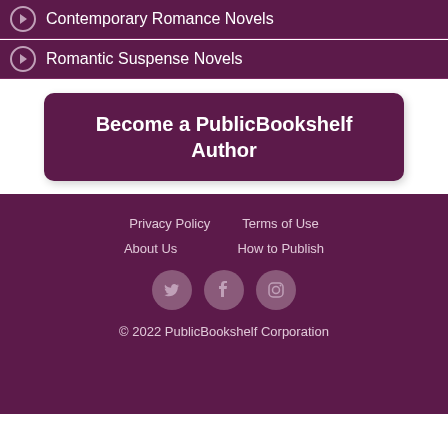Contemporary Romance Novels
Romantic Suspense Novels
Become a PublicBookshelf Author
Privacy Policy   Terms of Use   About Us   How to Publish   © 2022 PublicBookshelf Corporation